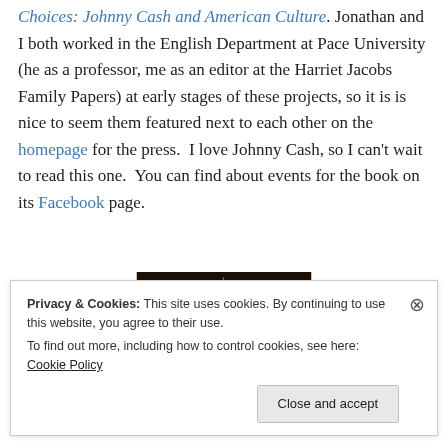Choices: Johnny Cash and American Culture. Jonathan and I both worked in the English Department at Pace University (he as a professor, me as an editor at the Harriet Jacobs Family Papers) at early stages of these projects, so it is is nice to seem them featured next to each other on the homepage for the press.  I love Johnny Cash, so I can't wait to read this one.  You can find about events for the book on its Facebook page.
[Figure (photo): Book cover image for 'Nine Choices: Johnny Cash and American Culture' showing stylized text on a dark background with sunburst design]
Privacy & Cookies: This site uses cookies. By continuing to use this website, you agree to their use.
To find out more, including how to control cookies, see here: Cookie Policy